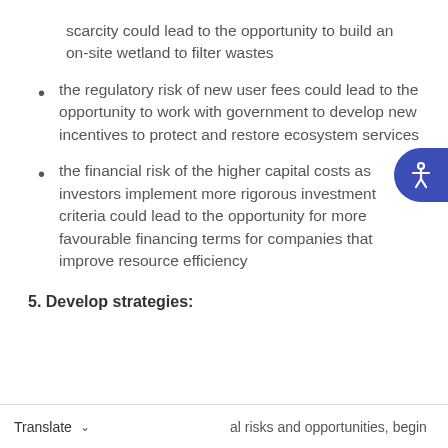scarcity could lead to the opportunity to build an on-site wetland to filter wastes
the regulatory risk of new user fees could lead to the opportunity to work with government to develop new incentives to protect and restore ecosystem services
the financial risk of the higher capital costs as investors implement more rigorous investment criteria could lead to the opportunity for more favourable financing terms for companies that improve resource efficiency
5. Develop strategies:
Translate   al risks and opportunities, begin